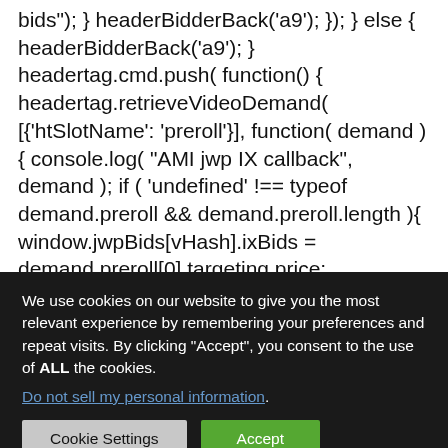bids"); } headerBidderBack('a9'); }); } else { headerBidderBack('a9'); } headertag.cmd.push( function() { headertag.retrieveVideoDemand( [{'htSlotName': 'preroll'}], function( demand ) { console.log( "AMI jwp IX callback", demand ); if ( 'undefined' !== typeof demand.preroll && demand.preroll.length ){ window.jwpBids[vHash].ixBids = demand.preroll[0].targeting.price; console.log( 'AMI jwp IX Bids', new Date().getTime(), demand.preroll[0].targeting ); var vastURL = new URL( url ); var vastParams = new URLSearchParams( vastURL.search ); if ( vastParams.has(
We use cookies on our website to give you the most relevant experience by remembering your preferences and repeat visits. By clicking "Accept", you consent to the use of ALL the cookies.
Do not sell my personal information.
Cookie Settings  Accept